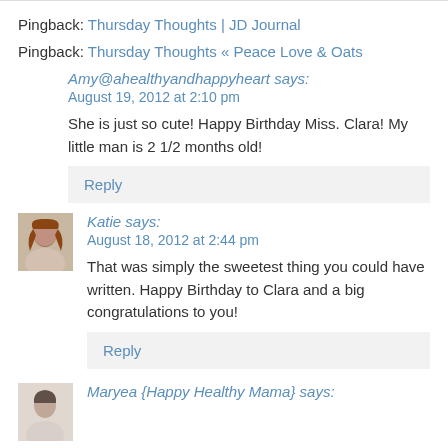Pingback: Thursday Thoughts | JD Journal
Pingback: Thursday Thoughts « Peace Love & Oats
Amy@ahealthyandhappyheart says:
August 19, 2012 at 2:10 pm
She is just so cute! Happy Birthday Miss. Clara! My little man is 2 1/2 months old!
Reply
Katie says:
August 18, 2012 at 2:44 pm
That was simply the sweetest thing you could have written. Happy Birthday to Clara and a big congratulations to you!
Reply
Maryea {Happy Healthy Mama} says: